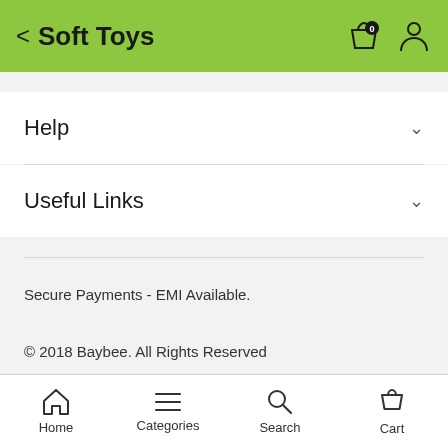< Soft Toys
Help
Useful Links
Secure Payments - EMI Available.
© 2018 Baybee. All Rights Reserved
Home  Categories  Search  Cart